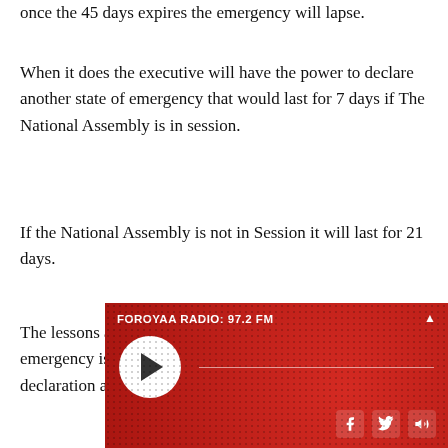once the 45 days expires the emergency will lapse.
When it does the executive will have the power to declare another state of emergency that would last for 7 days if The National Assembly is in session.
If the National Assembly is not in Session it will last for 21 days.
The lessons are clear. The declaration of a state of emergency is just word on paper. What gives essence to the declaration are the regulations to be enforced.
Whether a... emergency... section 34...
[Figure (other): FOROYAA RADIO: 97.2 FM radio player widget with red background, play button, audio progress line, and social media icons (Facebook, Twitter, speaker/volume).]